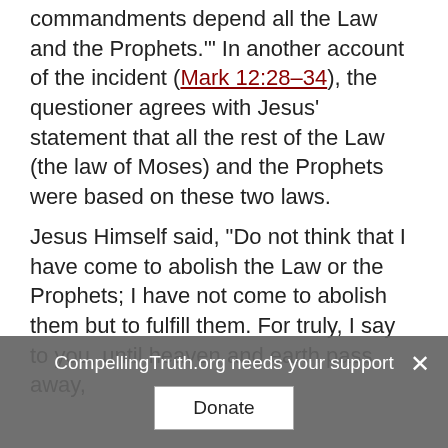commandments depend all the Law and the Prophets.'" In another account of the incident (Mark 12:28–34), the questioner agrees with Jesus' statement that all the rest of the Law (the law of Moses) and the Prophets were based on these two laws.
Jesus Himself said, "Do not think that I have come to abolish the Law or the Prophets; I have not come to abolish them but to fulfill them. For truly, I say to you, until heaven and earth pass away,
CompellingTruth.org needs your support  Donate